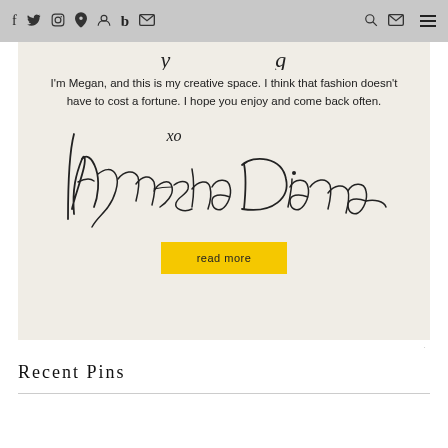f  twitter  instagram  pinterest  snapchat  b  mail  [search] [mail] [menu]
I'm Megan, and this is my creative space. I think that fashion doesn't have to cost a fortune. I hope you enjoy and come back often.
[Figure (illustration): Handwritten cursive signature reading 'xo Hynesha Diana' in black ink on cream background]
read more
Recent Pins